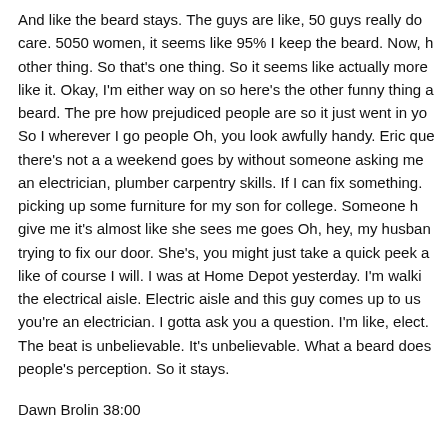And like the beard stays. The guys are like, 50 guys really don't care. 5050 women, it seems like 95% I keep the beard. Now, h other thing. So that's one thing. So it seems like actually more like it. Okay, I'm either way on so here's the other funny thing a beard. The pre how prejudiced people are so it just went in yo So I wherever I go people Oh, you look awfully handy. Eric que there's not a a weekend goes by without someone asking me an electrician, plumber carpentry skills. If I can fix something. picking up some furniture for my son for college. Someone h give me it's almost like she sees me goes Oh, hey, my husban trying to fix our door. She's, you might just take a quick peek a like of course I will. I was at Home Depot yesterday. I'm walki the electrical aisle. Electric aisle and this guy comes up to us you're an electrician. I gotta ask you a question. I'm like, elect The beat is unbelievable. It's unbelievable. What a beard does people's perception. So it stays.
Dawn Brolin 38:00